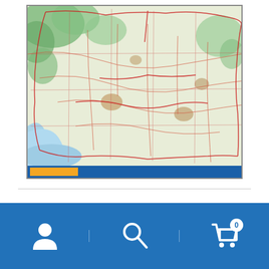[Figure (map): A topographic/political map of Slovenia showing roads, borders, cities, and terrain. The map has a green and beige color scheme with red boundary lines, and a blue bar at the bottom with an orange strip on the left side.]
← slovenia vinyl sticker maps
[Figure (infographic): Blue bottom navigation bar with three sections divided by vertical lines. Left section: white user/person icon. Middle section: white search/magnifying glass icon. Right section: white shopping basket/cart icon with a circular badge showing the number 0.]